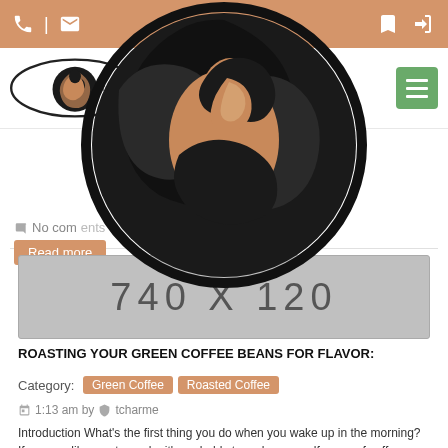Navigation bar with phone, email icons on left; bookmark and login icons on right
[Figure (logo): Coffee website logo with oval coffee bean and woman silhouette, overlaid large circular logo in center of page]
No comments
Read more
[Figure (other): Ad placeholder banner: 740 X 120]
ROASTING YOUR GREEN COFFEE BEANS FOR FLAVOR:
Category: Green Coffee  Roasted Coffee
1:13 am by tcharme
Introduction What's the first thing you do when you wake up in the morning? If you are like most people, it's probably to make yourself a cup of coffee or tea. For